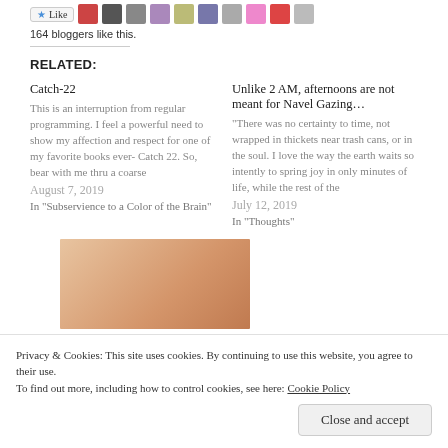164 bloggers like this.
RELATED:
Catch-22
This is an interruption from regular programming. I feel a powerful need to show my affection and respect for one of my favorite books ever- Catch 22. So, bear with me thru a coarse
August 7, 2019
In "Subservience to a Color of the Brain"
Unlike 2 AM, afternoons are not meant for Navel Gazing...
“There was no certainty to time, not wrapped in thickets near trash cans, or in the soul. I love the way the earth waits so intently to spring joy in only minutes of life, while the rest of the
July 12, 2019
In "Thoughts"
[Figure (photo): Partial image showing a warm peach/brown toned close-up photograph, partially visible at bottom of page]
Privacy & Cookies: This site uses cookies. By continuing to use this website, you agree to their use.
To find out more, including how to control cookies, see here: Cookie Policy
Close and accept